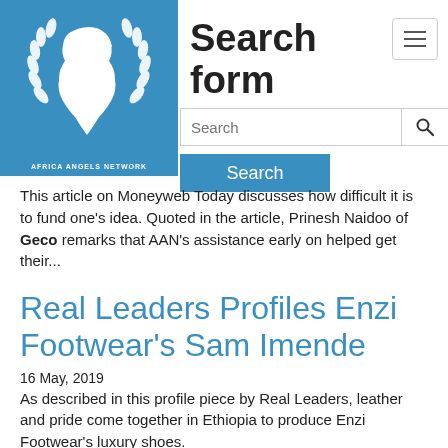[Figure (logo): Africa Angels Network logo — blue square with white stylized Africa map and laurel wreath, text AFRICA ANGELS NETWORK below]
Search form
This article on Moneyweb Today discusses how difficult it is to fund one's idea. Quoted in the article, Prinesh Naidoo of Geco remarks that AAN's assistance early on helped get their...
Real Leaders Profiles Enzi Footwear's Sam Imende
16 May, 2019
As described in this profile piece by Real Leaders, leather and pride come together in Ethiopia to produce Enzi Footwear's luxury shoes.
Andela's Jeremy Johnson 40 of